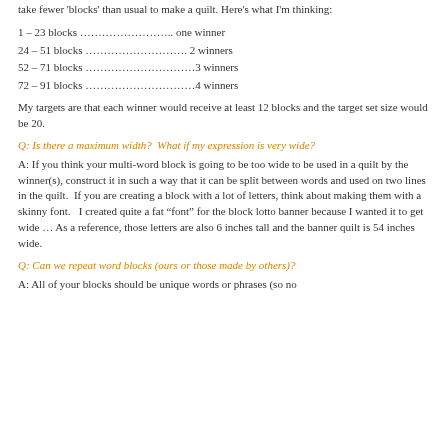take fewer 'blocks' than usual to make a quilt.  Here's what I'm thinking:
1 – 23 blocks …………………….. one winner
24 – 51 blocks ………………………. 2 winners
52 – 71 blocks …………………………3 winners
72 – 91 blocks …………………………4 winners
My targets are that each winner would receive at least 12 blocks and the target set size would be 20.
Q: Is there a maximum width?  What if my expression is very wide?
A: If you think your multi-word block is going to be too wide to be used in a quilt by the winner(s), construct it in such a way that it can be split between words and used on two lines in the quilt.  If you are creating a block with a lot of letters, think about making them with a skinny font.   I created quite a fat “font” for the block lotto banner because I wanted it to get wide … As a reference, those letters are also 6 inches tall and the banner quilt is 54 inches wide.
Q: Can we repeat word blocks (ours or those made by others)?
A: All of your blocks should be unique words or phrases (so no